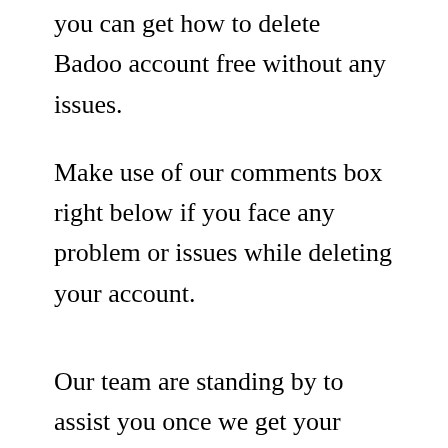you can get how to delete Badoo account free without any issues.
Make use of our comments box right below if you face any problem or issues while deleting your account.
Our team are standing by to assist you once we get your message on our box. We are here for you and so many others that needs our help.